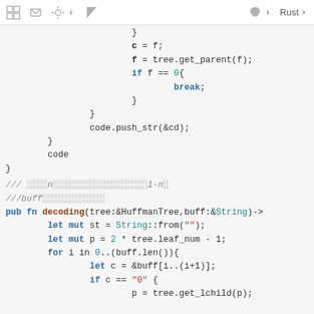[toolbar with icons: share, cube, settings, flag, leaf, Rust]
code snippet: closing braces, c = f; f = tree.get_parent(f); if f == 0{ break; } } code.push_str(&cd); } code }
/// [comment about n and 1-n]
///buff[comment]
pub fn decoding(tree:&HuffmanTree,buff:&String)->
        let mut st = String::from("");
        let mut p = 2 * tree.leaf_num - 1;
        for i in 0..(buff.len()){
                let c = &buff[i..(i+1)];
                if c == "0" {
                        p = tree.get_lchild(p);